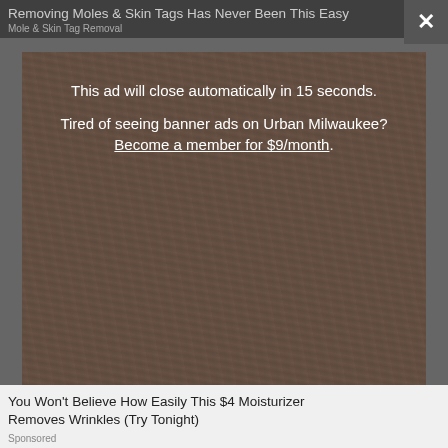Removing Moles & Skin Tags Has Never Been This Easy
Mole & Skin Tag Removal
This ad will close automatically in 15 seconds.
Tired of seeing banner ads on Urban Milwaukee? Become a member for $9/month.
[Figure (photo): Dark close-up photo of skin texture, serving as background for an advertisement overlay]
You Won't Believe How Easily This $4 Moisturizer Removes Wrinkles (Try Tonight)
Sponsored